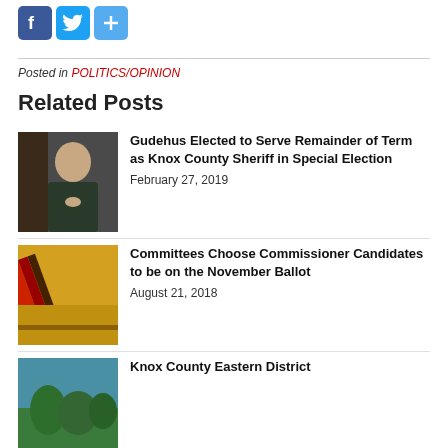[Figure (other): Social media share icons: Facebook, Twitter, and a generic share/plus button]
Posted in POLITICS/OPINION
Related Posts
[Figure (photo): Photo of a man in a dark uniform with a badge, smiling, standing in front of a dark door]
Gudehus Elected to Serve Remainder of Term as Knox County Sheriff in Special Election
February 27, 2019
[Figure (photo): Photo of colorful striped fabric or ballot box interior in yellow and red tones]
Committees Choose Commissioner Candidates to be on the November Ballot
August 21, 2018
[Figure (photo): Outdoor photo with trees and blue sky]
Knox County Eastern District